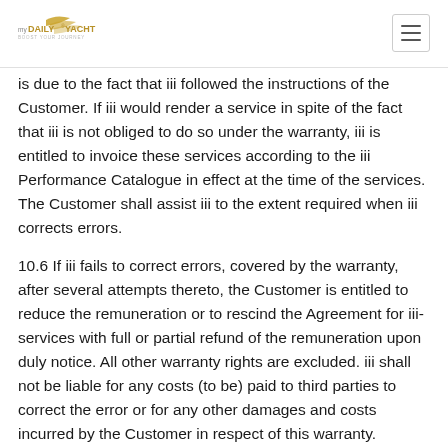myDAILY® YACHT — BOOST YOUR JOURNEY
is due to the fact that iii followed the instructions of the Customer. If iii would render a service in spite of the fact that iii is not obliged to do so under the warranty, iii is entitled to invoice these services according to the iii Performance Catalogue in effect at the time of the services. The Customer shall assist iii to the extent required when iii corrects errors.
10.6 If iii fails to correct errors, covered by the warranty, after several attempts thereto, the Customer is entitled to reduce the remuneration or to rescind the Agreement for iii-services with full or partial refund of the remuneration upon duly notice. All other warranty rights are excluded. iii shall not be liable for any costs (to be) paid to third parties to correct the error or for any other damages and costs incurred by the Customer in respect of this warranty.